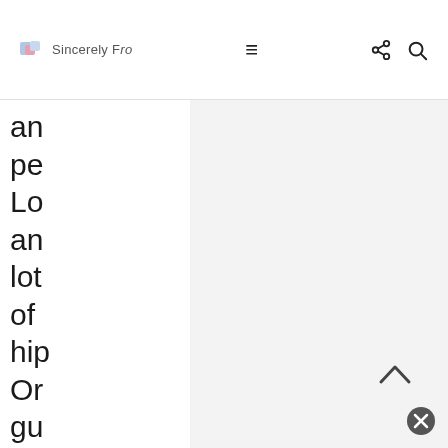Sincerely Fro — navigation bar with logo, hamburger menu, share icon, and search icon
an pe Lo an lot of hip Or gu ac asl us if we ha an